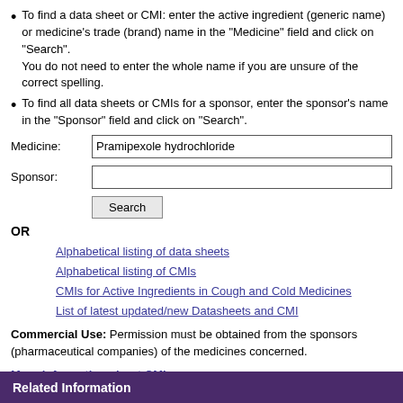To find a data sheet or CMI: enter the active ingredient (generic name) or medicine's trade (brand) name in the "Medicine" field and click on "Search". You do not need to enter the whole name if you are unsure of the correct spelling.
To find all data sheets or CMIs for a sponsor, enter the sponsor's name in the "Sponsor" field and click on "Search".
Medicine: [input: Pramipexole hydrochloride]
Sponsor: [input: empty]
Search [button]
OR
Alphabetical listing of data sheets
Alphabetical listing of CMIs
CMIs for Active Ingredients in Cough and Cold Medicines
List of latest updated/new Datasheets and CMI
Commercial Use: Permission must be obtained from the sponsors (pharmaceutical companies) of the medicines concerned.
More information about CMI
Related Information